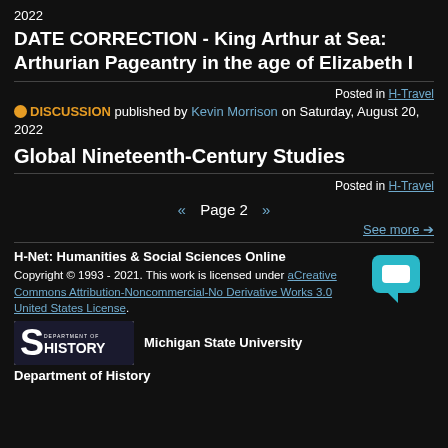2022
DATE CORRECTION - King Arthur at Sea: Arthurian Pageantry in the age of Elizabeth I
Posted in H-Travel
DISCUSSION published by Kevin Morrison on Saturday, August 20, 2022
Global Nineteenth-Century Studies
Posted in H-Travel
« Page 2 »
See more
H-Net: Humanities & Social Sciences Online
Copyright © 1993 - 2021. This work is licensed under a Creative Commons Attribution-Noncommercial-No Derivative Works 3.0 United States License.
Michigan State University
Department of History